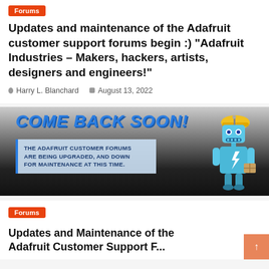Forums
Updates and maintenance of the Adafruit customer support forums begin :) “Adafruit Industries – Makers, hackers, artists, designers and engineers!”
Harry L. Blanchard   August 13, 2022
[Figure (illustration): Banner image showing COME BACK SOON! text with a robot character. Below text reads: THE ADAFRUIT CUSTOMER FORUMS ARE BEING UPGRADED, AND DOWN FOR MAINTENANCE AT THIS TIME.]
Forums
Updates and Maintenance of the Adafruit Customer Support F...